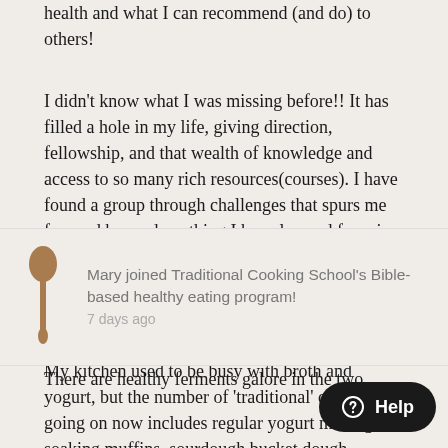health and what I can recommend (and do) to others!
I didn't know what I was missing before!! It has filled a hole in my life, giving direction, fellowship, and that wealth of knowledge and access to so many rich resources(courses). I have found a group through challenges that spurs me forward beyond anything I have learned from in the past! I have so many options to do in my free time to study more things.
My kitchen used to be busy with broth and yogurt, but the number of 'traditional' cooking going on now includes regular yogurt making, soaking muffins, sourdough bucket dough English muffins, other
[Figure (other): Notification banner: wooden spoon icon on left, text 'Mary joined Traditional Cooking School's Bible-based healthy eating program!' with '7 days ago' timestamp. Partially overlaps main text.]
There are healthy ferments galore in the two